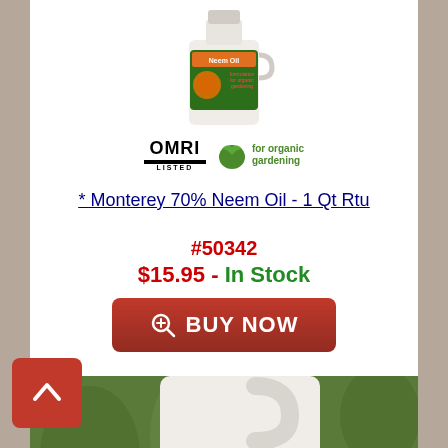[Figure (photo): Neem Oil bottle product photo - Monterey 70% Neem Oil 1 Qt RTU]
[Figure (logo): OMRI Listed logo and for organic gardening logo]
* Monterey 70% Neem Oil - 1 Qt Rtu
#50342
$15.95 - In Stock
[Figure (screenshot): BUY NOW button - red rounded rectangle button with search icon]
[Figure (photo): Monterey Garden Insect Spray product bottle photo with green plant background]